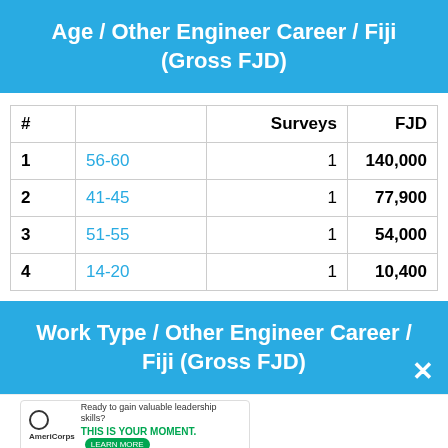Age / Other Engineer Career / Fiji (Gross FJD)
| # |  | Surveys | FJD |
| --- | --- | --- | --- |
| 1 | 56-60 | 1 | 140,000 |
| 2 | 41-45 | 1 | 77,900 |
| 3 | 51-55 | 1 | 54,000 |
| 4 | 14-20 | 1 | 10,400 |
Work Type / Other Engineer Career / Fiji (Gross FJD)
| # |  | Surveys | FJD |
| --- | --- | --- | --- |